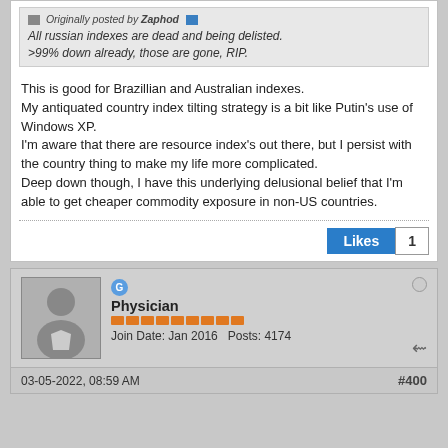Originally posted by Zaphod
All russian indexes are dead and being delisted.
>99% down already, those are gone, RIP.
This is good for Brazillian and Australian indexes.
My antiquated country index tilting strategy is a bit like Putin's use of Windows XP.
I'm aware that there are resource index's out there, but I persist with the country thing to make my life more complicated.
Deep down though, I have this underlying delusional belief that I'm able to get cheaper commodity exposure in non-US countries.
Likes 1
G
Physician
Join Date: Jan 2016    Posts: 4174
03-05-2022, 08:59 AM
#400